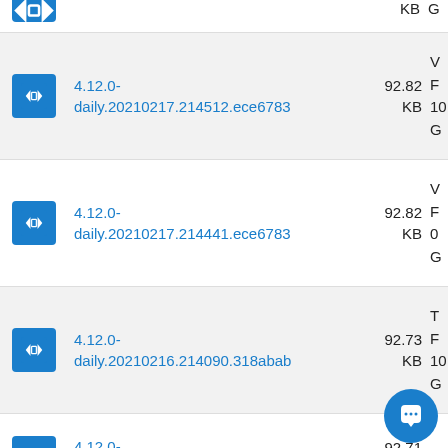KB  G
4.12.0-daily.20210217.214512.ece6783  92.82 KB  W F 10 G
4.12.0-daily.20210217.214441.ece6783  92.82 KB  W F 0 G
4.12.0-daily.20210216.214090.318abab  92.73 KB  T F 10 G
4.12.0-  92.71